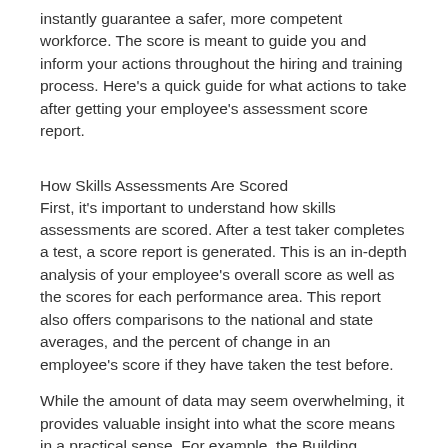instantly guarantee a safer, more competent workforce. The score is meant to guide you and inform your actions throughout the hiring and training process. Here's a quick guide for what actions to take after getting your employee's assessment score report.
How Skills Assessments Are Scored
First, it's important to understand how skills assessments are scored. After a test taker completes a test, a score report is generated. This is an in-depth analysis of your employee's overall score as well as the scores for each performance area. This report also offers comparisons to the national and state averages, and the percent of change in an employee's score if they have taken the test before.
While the amount of data may seem overwhelming, it provides valuable insight into what the score means in a practical sense. For example, the Building Construction Occupations assessment is broken down